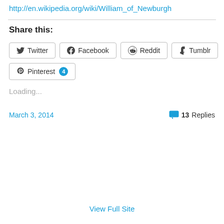http://en.wikipedia.org/wiki/William_of_Newburgh
Share this:
[Figure (screenshot): Social sharing buttons: Twitter, Facebook, Reddit, Tumblr, Pinterest (with badge 4)]
Loading...
March 3, 2014   💬 13 Replies
View Full Site